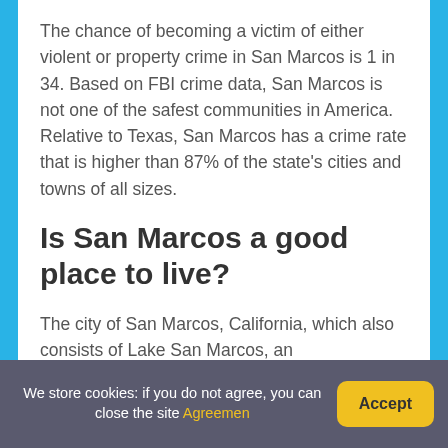The chance of becoming a victim of either violent or property crime in San Marcos is 1 in 34. Based on FBI crime data, San Marcos is not one of the safest communities in America. Relative to Texas, San Marcos has a crime rate that is higher than 87% of the state's cities and towns of all sizes.
Is San Marcos a good place to live?
The city of San Marcos, California, which also consists of Lake San Marcos, an unincorporated community within the city's limits, has over 80,000 residents. All of these – and the many things to do
We store cookies: if you do not agree, you can close the site Agreemen